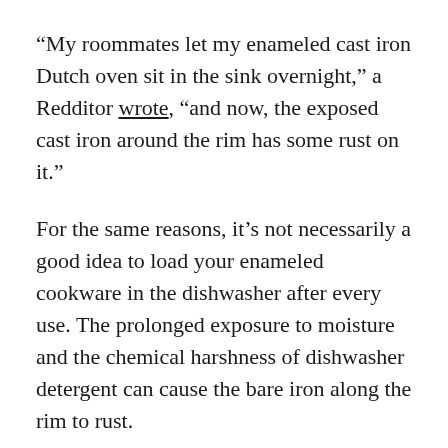“My roommates let my enameled cast iron Dutch oven sit in the sink overnight,” a Redditor wrote, “and now, the exposed cast iron around the rim has some rust on it.”
For the same reasons, it’s not necessarily a good idea to load your enameled cookware in the dishwasher after every use. The prolonged exposure to moisture and the chemical harshness of dishwasher detergent can cause the bare iron along the rim to rust.
Telling whether that’s the case for your enameled cast iron cooking vessels is easy: